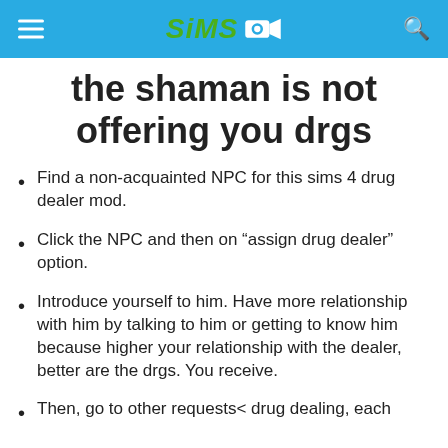Sims [camera icon]
the shaman is not offering you drgs
Find a non-acquainted NPC for this sims 4 drug dealer mod.
Click the NPC and then on “assign drug dealer” option.
Introduce yourself to him. Have more relationship with him by talking to him or getting to know him because higher your relationship with the dealer, better are the drgs. You receive.
Then, go to other requests< drug dealing, each